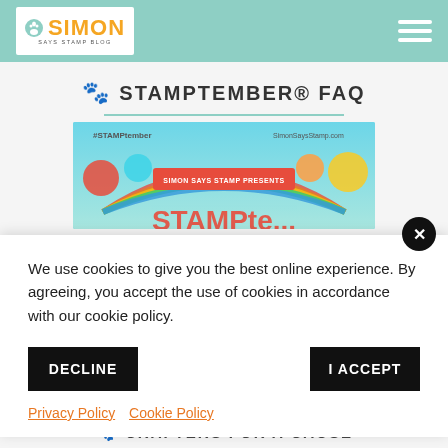Simon Says Stamp Blog
🐾 STAMPTEMBER® FAQ
[Figure (photo): Stamptember promotional banner with colorful balloons and text 'Simon Says Stamp Presents Stamptember', #STAMPtember and SimonSaysStamp.com visible]
We use cookies to give you the best online experience. By agreeing, you accept the use of cookies in accordance with our cookie policy.
DECLINE
I ACCEPT
Privacy Policy   Cookie Policy
🐾 CRAFTERS FOR A CAUSE